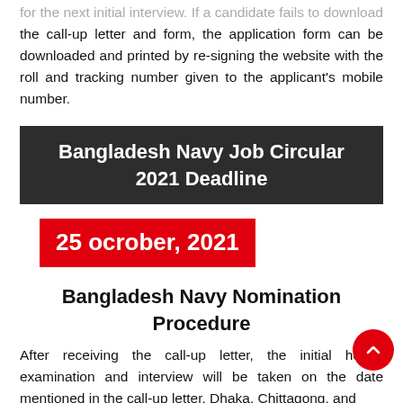for the next initial interview. If a candidate fails to download the call-up letter and form, the application form can be downloaded and printed by re-signing the website with the roll and tracking number given to the applicant's mobile number.
Bangladesh Navy Job Circular 2021 Deadline
25 ocrober, 2021
Bangladesh Navy Nomination Procedure
After receiving the call-up letter, the initial health examination and interview will be taken on the date mentioned in the call-up letter. Dhaka, Chittagong, and